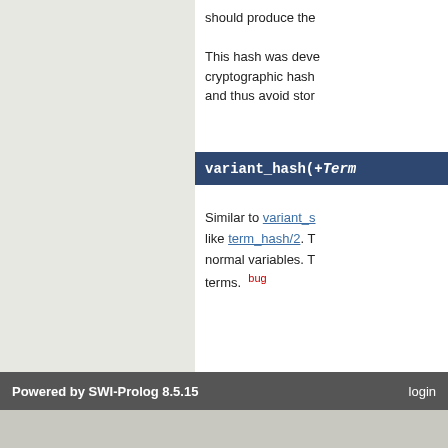should produce the
This hash was deve cryptographic hash and thus avoid stor
variant_hash(+Term
Similar to variant_s like term_hash/2. T normal variables. T terms.  bug
Tags are associated to your profile if you are logged in
Tags:  Tag Section "Indexing database
login to add a new annotation post.
Powered by SWI-Prolog 8.5.15    login